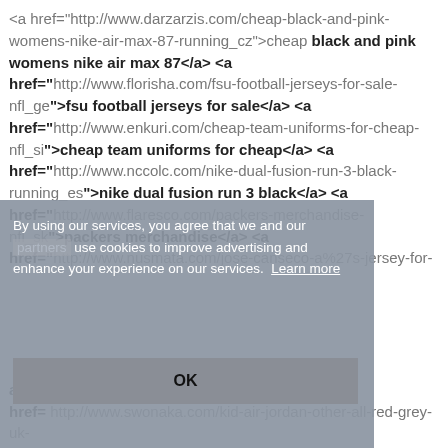<a href="http://www.darzarzis.com/cheap-black-and-pink-womens-nike-air-max-87-running_cz">cheap black and pink womens nike air max 87</a> <a href="http://www.florisha.com/fsu-football-jerseys-for-sale-nfl_ge">fsu football jerseys for sale</a> <a href="http://www.enkuri.com/cheap-team-uniforms-for-cheap-nfl_si">cheap team uniforms for cheap</a> <a href="http://www.nccolc.com/nike-dual-fusion-run-3-black-running_es">nike dual fusion run 3 black</a> <a href="http://www.flaresco.com/packers-merchandise-nfl_sk">packers merchandise</a> <a href="http://www.nusmata.com/jose-canseco-a%27s-jersey-for-
[Figure (screenshot): Cookie consent overlay with text 'By using our services, you agree that we and our [partners] use cookies to improve advertising and enhance your experience on our services. Learn more' and an OK button.]
href= http://www.swonaka.com/kid-air-jordan-other-all-red-grey-uk-